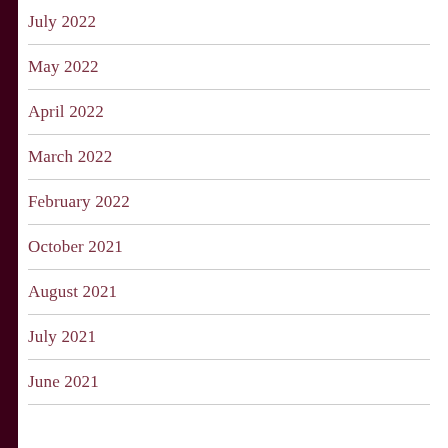July 2022
May 2022
April 2022
March 2022
February 2022
October 2021
August 2021
July 2021
June 2021